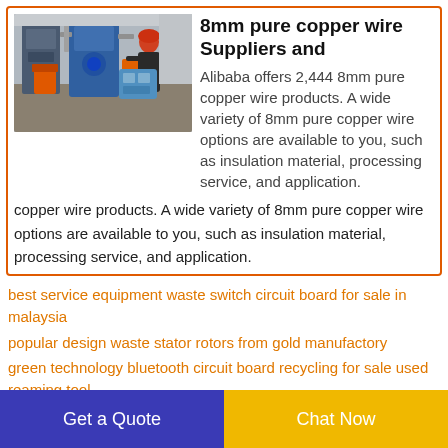[Figure (photo): Industrial copper wire processing facility with machinery, pipes, and a worker wearing a red helmet operating equipment.]
8mm pure copper wire Suppliers and
Alibaba offers 2,444 8mm pure copper wire products. A wide variety of 8mm pure copper wire options are available to you, such as insulation material, processing service, and application.
best service equipment waste switch circuit board for sale in malaysia
popular design waste stator rotors from gold manufactory
green technology bluetooth circuit board recycling for sale used reaming tool
pro fastmarkets steel scrap car recycling for dismantling of waste
Get a Quote
Chat Now